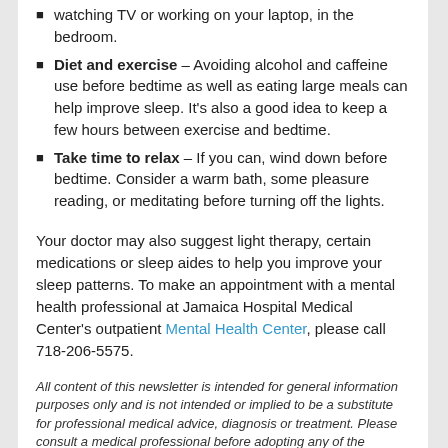watching TV or working on your laptop, in the bedroom.
Diet and exercise – Avoiding alcohol and caffeine use before bedtime as well as eating large meals can help improve sleep. It's also a good idea to keep a few hours between exercise and bedtime.
Take time to relax – If you can, wind down before bedtime. Consider a warm bath, some pleasure reading, or meditating before turning off the lights.
Your doctor may also suggest light therapy, certain medications or sleep aides to help you improve your sleep patterns. To make an appointment with a mental health professional at Jamaica Hospital Medical Center's outpatient Mental Health Center, please call 718-206-5575.
All content of this newsletter is intended for general information purposes only and is not intended or implied to be a substitute for professional medical advice, diagnosis or treatment. Please consult a medical professional before adopting any of the suggestions on this page. You must never disregard professional medical advice or delay seeking medical treatment based upon any content of this newsletter.